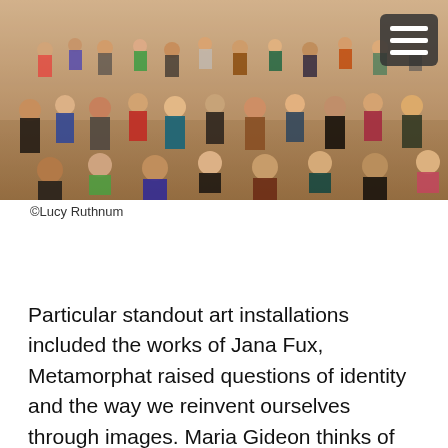[Figure (photo): Crowd of people at an outdoor festival or public event, photographed from behind/mixed angles, warm sunlit tones with many people in summer clothing.]
©Lucy Ruthnum
Particular standout art installations included the works of Jana Fux, Metamorphat raised questions of identity and the way we reinvent ourselves through images. Maria Gideon thinks of herself as a choreographer of creativity and relishes in charismatic chaos in her work, Palace for the Moment. Marshal Arts made poignant comments on the state of society and the effects of communication, change